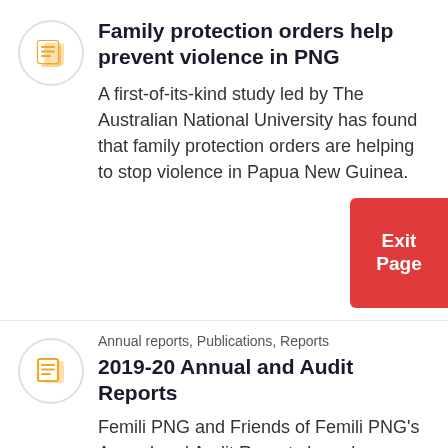[Figure (logo): Orange document/pages icon inside a light grey circle]
Family protection orders help prevent violence in PNG
A first-of-its-kind study led by The Australian National University has found that family protection orders are helping to stop violence in Papua New Guinea.
Exit Page
[Figure (logo): Orange document/pages icon inside a light grey circle]
Annual reports, Publications, Reports
2019-20 Annual and Audit Reports
Femili PNG and Friends of Femili PNG's Annual and Audit Reports have been finalised and are